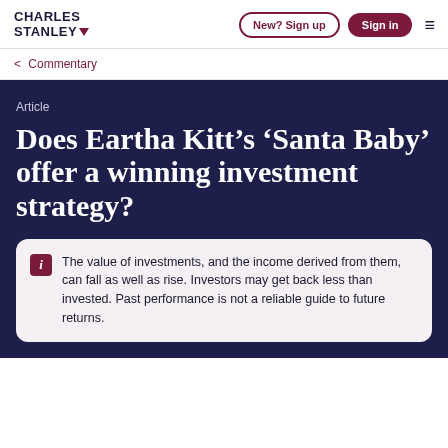CHARLES STANLEY | New? Sign up | Sign in
< Commentary
Article
Does Eartha Kitt’s ‘Santa Baby’ offer a winning investment strategy?
The value of investments, and the income derived from them, can fall as well as rise. Investors may get back less than invested. Past performance is not a reliable guide to future returns.